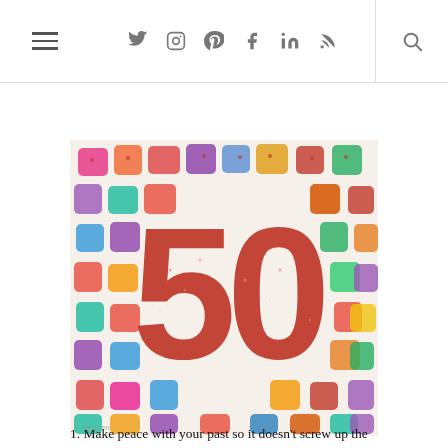navigation bar with hamburger menu, social icons (Twitter, Instagram, Pinterest, Facebook, LinkedIn, RSS), and search icon
[Figure (photo): Colorful celebration image showing the number '50' made of red glitter on a white background surrounded by colorful candy or confetti squares with sprinkles]
1. Make peace with your past so it doesn't screw up the